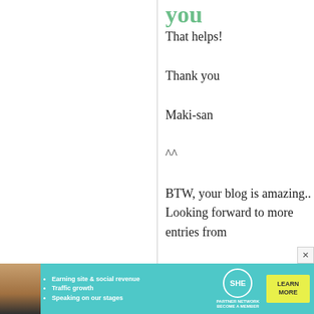you
That helps!

Thank you

Maki-san

^^

BTW, your blog is amazing.. Looking forward to more entries from
[Figure (infographic): SHE Partner Network advertisement banner at the bottom. Teal/green background with a woman's photo, bullet points about earning site & social revenue, traffic growth, speaking on our stages, SHE Partner Network logo, and a LEARN MORE button.]